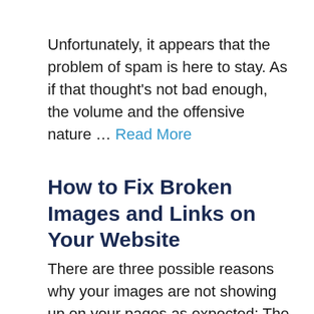Unfortunately, it appears that the problem of spam is here to stay. As if that thought's not bad enough, the volume and the offensive nature … Read More
How to Fix Broken Images and Links on Your Website
There are three possible reasons why your images are not showing up on your pages as expected: The image file is not located in the …